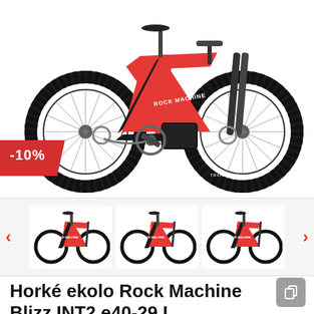[Figure (photo): Red and black Rock Machine Blizz INT2 e40-29 mountain e-bike, side profile view, white background. Red discount badge showing -10% overlaid on lower left.]
[Figure (photo): Thumbnail strip showing three smaller images of the same red/black Rock Machine e-bike from different angles, with left and right navigation arrows.]
Horké ekolo Rock Machine Blizz INT2 e40-29 L red/black/silver 2022